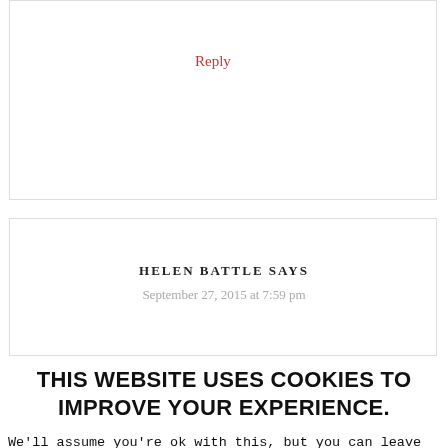Reply
HELEN BATTLE SAYS
September 27, 2015 at 7:59 pm
THIS WEBSITE USES COOKIES TO IMPROVE YOUR EXPERIENCE.
We'll assume you're ok with this, but you can leave if you wish. Rejecting cookies will take you to google.com, leaving the scottish mum blog website.
Accept
Reject
Read More